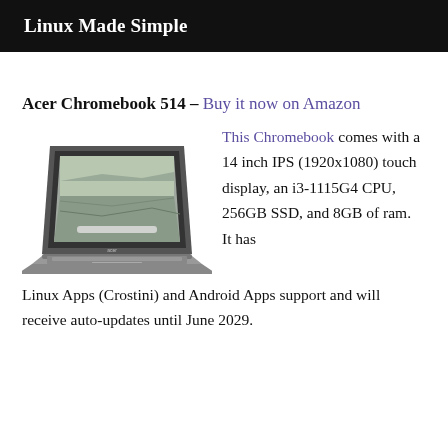Linux Made Simple
Acer Chromebook 514 – Buy it now on Amazon
[Figure (photo): Photo of an Acer Chromebook 514 laptop shown open at an angle, with a scenic aerial image on the screen, grey body and keyboard visible.]
This Chromebook comes with a 14 inch IPS (1920x1080) touch display, an i3-1115G4 CPU, 256GB SSD, and 8GB of ram. It has Linux Apps (Crostini) and Android Apps support and will receive auto-updates until June 2029.